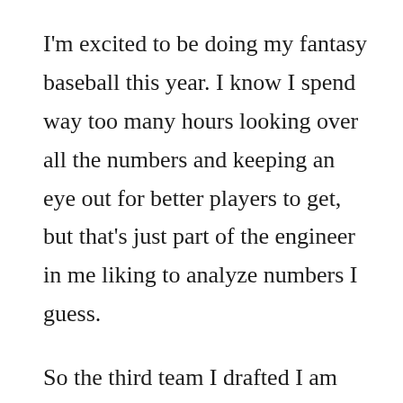I'm excited to be doing my fantasy baseball this year. I know I spend way too many hours looking over all the numbers and keeping an eye out for better players to get, but that's just part of the engineer in me liking to analyze numbers I guess.
So the third team I drafted I am experimenting with pitching. Typically, hitters are picked in the first round, and hitters continue to dominate the picks for the first few rounds. Pitching tends to be picked later